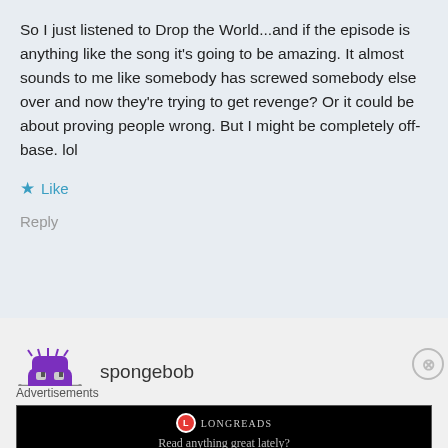So I just listened to Drop the World...and if the episode is anything like the song it's going to be amazing. It almost sounds to me like somebody has screwed somebody else over and now they're trying to get revenge? Or it could be about proving people wrong. But I might be completely off-base. lol
Like
Reply
spongebob
AUGUST 21, 2010 AT 8:46 AM
Advertisements
[Figure (screenshot): Longreads advertisement banner with logo and tagline 'Read anything great lately?']